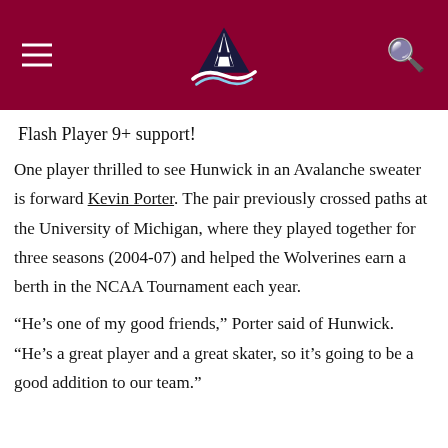Colorado Avalanche header with logo, hamburger menu, and search icon
Flash Player 9+ support!
One player thrilled to see Hunwick in an Avalanche sweater is forward Kevin Porter. The pair previously crossed paths at the University of Michigan, where they played together for three seasons (2004-07) and helped the Wolverines earn a berth in the NCAA Tournament each year.
“He’s one of my good friends,” Porter said of Hunwick. “He’s a great player and a great skater, so it’s going to be a good addition to our team.”